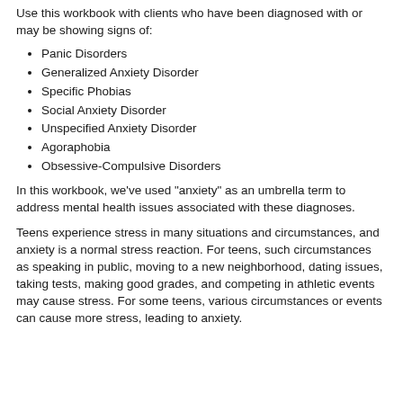Use this workbook with clients who have been diagnosed with or may be showing signs of:
Panic Disorders
Generalized Anxiety Disorder
Specific Phobias
Social Anxiety Disorder
Unspecified Anxiety Disorder
Agoraphobia
Obsessive-Compulsive Disorders
In this workbook, we've used "anxiety" as an umbrella term to address mental health issues associated with these diagnoses.
Teens experience stress in many situations and circumstances, and anxiety is a normal stress reaction. For teens, such circumstances as speaking in public, moving to a new neighborhood, dating issues, taking tests, making good grades, and competing in athletic events may cause stress. For some teens, various circumstances or events can cause more stress, leading to anxiety.